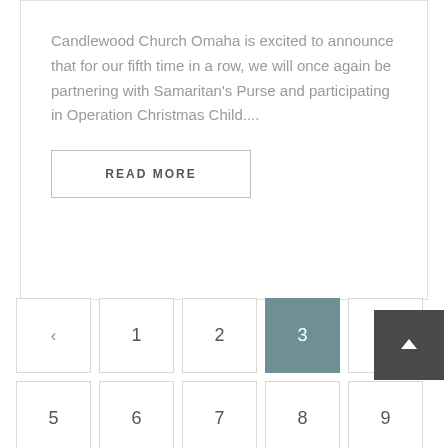Candlewood Church Omaha is excited to announce that for our fifth time in a row, we will once again be partnering with Samaritan's Purse and participating in Operation Christmas Child....
READ MORE
< 1 2 3 4
5 6 7 8 9
10 11 12 13 14